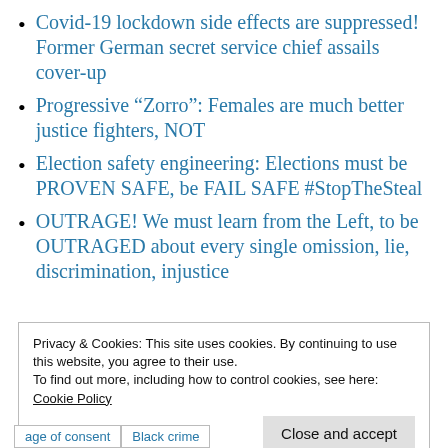Covid-19 lockdown side effects are suppressed! Former German secret service chief assails cover-up
Progressive “Zorro”: Females are much better justice fighters, NOT
Election safety engineering: Elections must be PROVEN SAFE, be FAIL SAFE #StopTheSteal
OUTRAGE! We must learn from the Left, to be OUTRAGED about every single omission, lie, discrimination, injustice
Privacy & Cookies: This site uses cookies. By continuing to use this website, you agree to their use.
To find out more, including how to control cookies, see here: Cookie Policy
Close and accept
age of consent   Black crime